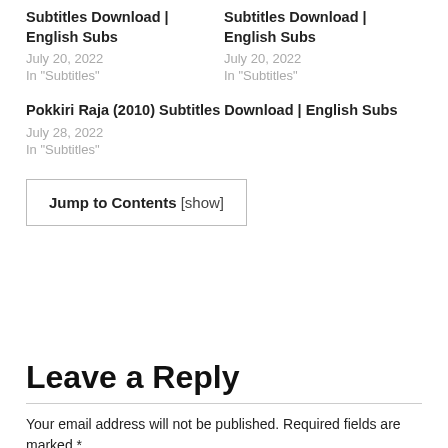Subtitles Download | English Subs
July 20, 2022
In "Subtitles"
Subtitles Download | English Subs
July 20, 2022
In "Subtitles"
Pokkiri Raja (2010) Subtitles Download | English Subs
July 28, 2022
In "Subtitles"
Jump to Contents [show]
Leave a Reply
Your email address will not be published. Required fields are marked *